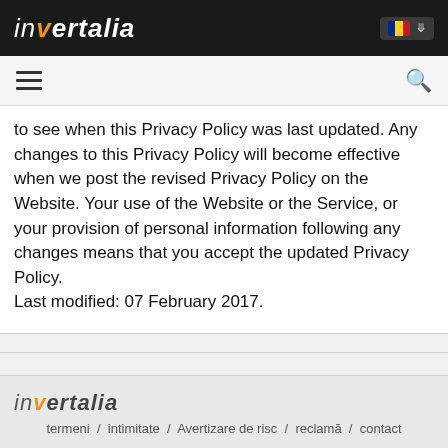invertalia [logo with Romanian flag dropdown]
hamburger menu / search icon
to see when this Privacy Policy was last updated. Any changes to this Privacy Policy will become effective when we post the revised Privacy Policy on the Website. Your use of the Website or the Service, or your provision of personal information following any changes means that you accept the updated Privacy Policy.
Last modified: 07 February 2017.
invertalia | termeni / intimitate / Avertizare de risc / reclamă / contact